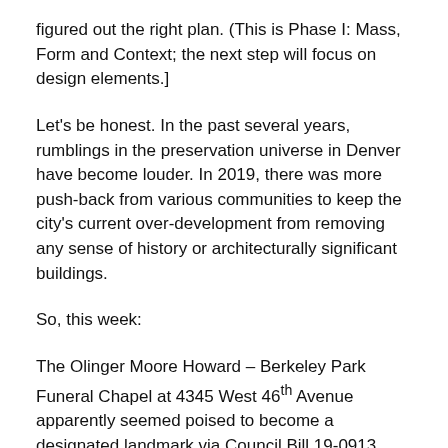figured out the right plan. (This is Phase I: Mass, Form and Context; the next step will focus on design elements.]
Let's be honest. In the past several years, rumblings in the preservation universe in Denver have become louder. In 2019, there was more push-back from various communities to keep the city's current over-development from removing any sense of history or architecturally significant buildings.
So, this week:
The Olinger Moore Howard – Berkeley Park Funeral Chapel at 4345 West 46th Avenue apparently seemed poised to become a designated landmark via Council Bill 19-0913. With extensive discussions between the neighborhood organizations and the owner (and the